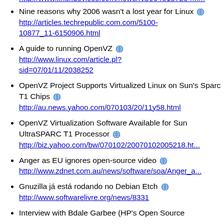http://www.linuxdevices.com/news/NS9048137234.h...
Nine reasons why 2006 wasn't a lost year for Linux
http://articles.techrepublic.com.com/5100-10877_11-6150906.html
A guide to running OpenVZ
http://www.linux.com/article.pl?sid=07/01/11/2038252
OpenVZ Project Supports Virtualized Linux on Sun's Sparc T1 Chips
http://au.news.yahoo.com/070103/20/11y58.html
OpenVZ Virtualization Software Available for Sun UltraSPARC T1 Processor
http://biz.yahoo.com/bw/070102/20070102005218.ht...
Anger as EU ignores open-source video
http://www.zdnet.com.au/news/software/soa/Anger_a...
Gnuzilla já está rodando no Debian Etch
http://www.softwarelivre.org/news/8331
Interview with Bdale Garbee (HP's Open Source...